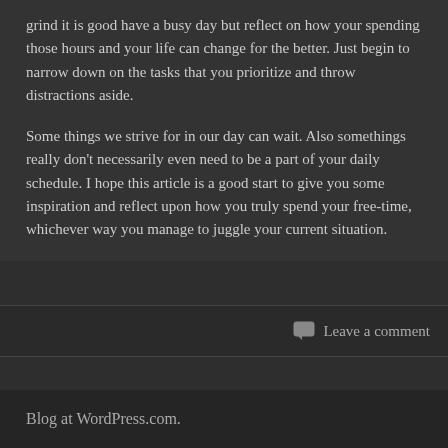grind it is good have a busy day but reflect on how your spending those hours and your life can change for the better. Just begin to narrow down on the tasks that you prioritize and throw distractions aside.
Some things we strive for in our day can wait. Also somethings really don't necessarily even need to be a part of your daily schedule. I hope this article is a good start to give you some inspiration and reflect upon how you truly spend your free-time, whichever way you manage to juggle your current situation.
Leave a comment
Blog at WordPress.com.